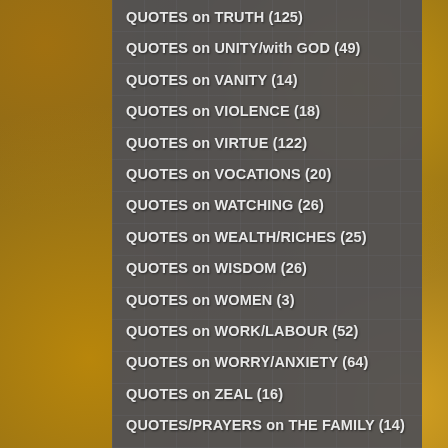QUOTES on TRUTH (125)
QUOTES on UNITY/with GOD (49)
QUOTES on VANITY (14)
QUOTES on VIOLENCE (18)
QUOTES on VIRTUE (122)
QUOTES on VOCATIONS (20)
QUOTES on WATCHING (26)
QUOTES on WEALTH/RICHES (25)
QUOTES on WISDOM (26)
QUOTES on WOMEN (3)
QUOTES on WORK/LABOUR (52)
QUOTES on WORRY/ANXIETY (64)
QUOTES on ZEAL (16)
QUOTES/PRAYERS on THE FAMILY (14)